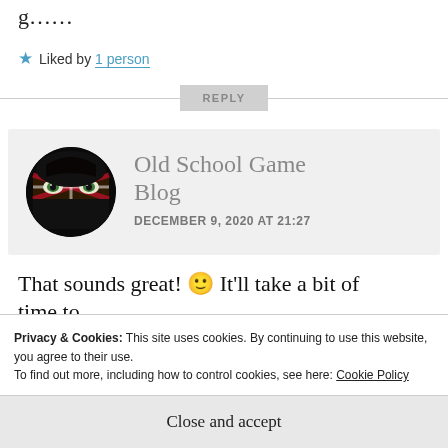g……
★ Liked by 1 person
REPLY
[Figure (photo): Circular avatar image showing a person with face paint, wearing dark clothing, styled to look like a ninja or masked character with striking eyes.]
Old School Game Blog
DECEMBER 9, 2020 AT 21:27
That sounds great! 🙂 It'll take a bit of time to…
Privacy & Cookies: This site uses cookies. By continuing to use this website, you agree to their use.
To find out more, including how to control cookies, see here: Cookie Policy
Close and accept